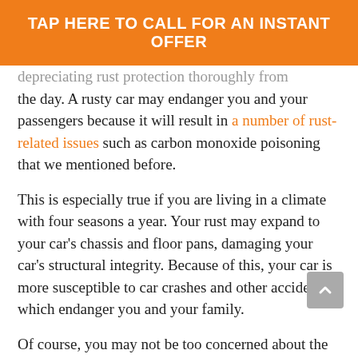TAP HERE TO CALL FOR AN INSTANT OFFER
…deprecating rust protection thoroughly from the day. A rusty car may endanger you and your passengers because it will result in a number of rust-related issues such as carbon monoxide poisoning that we mentioned before.
This is especially true if you are living in a climate with four seasons a year. Your rust may expand to your car's chassis and floor pans, damaging your car's structural integrity. Because of this, your car is more susceptible to car crashes and other accidents which endanger you and your family.
Of course, you may not be too concerned about the aesthetics of your car, but if its structural…